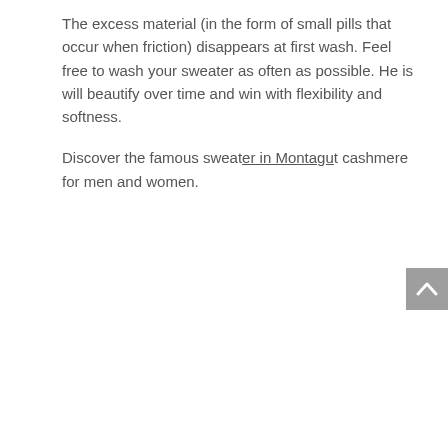The excess material (in the form of small pills that occur when friction) disappears at first wash. Feel free to wash your sweater as often as possible. He is will beautify over time and win with flexibility and softness.
Discover the famous sweater in Montagu cashmere for men and women.